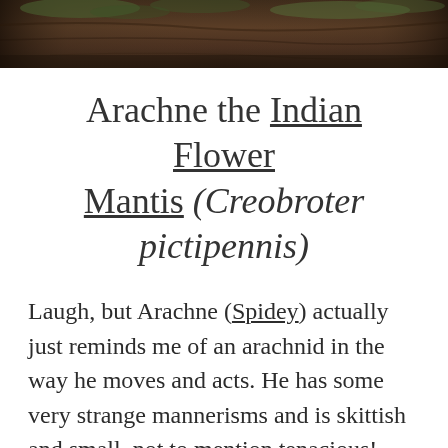[Figure (photo): Close-up photo of a dark brown branch or twig with moss or vegetation, cropped at the top of the page]
Arachne the Indian Flower Mantis (Creobroter pictipennis)
Laugh, but Arachne (Spidey) actually just reminds me of an arachnid in the way he moves and acts. He has some very strange mannerisms and is skittish and small, not to mention tenacious! This mantis, more than any before, is willing to tackle insects that are more